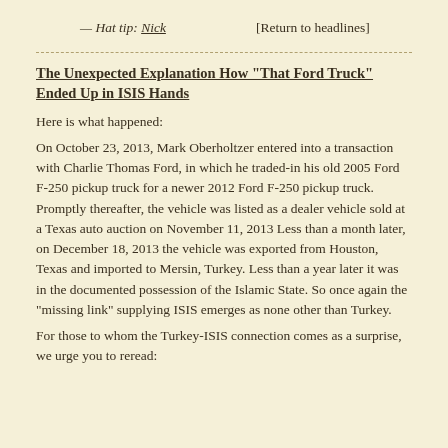— Hat tip: Nick   [Return to headlines]
The Unexpected Explanation How “That Ford Truck” Ended Up in ISIS Hands
Here is what happened:
On October 23, 2013, Mark Oberholtzer entered into a transaction with Charlie Thomas Ford, in which he traded-in his old 2005 Ford F-250 pickup truck for a newer 2012 Ford F-250 pickup truck. Promptly thereafter, the vehicle was listed as a dealer vehicle sold at a Texas auto auction on November 11, 2013 Less than a month later, on December 18, 2013 the vehicle was exported from Houston, Texas and imported to Mersin, Turkey. Less than a year later it was in the documented possession of the Islamic State. So once again the “missing link” supplying ISIS emerges as none other than Turkey.
For those to whom the Turkey-ISIS connection comes as a surprise, we urge you to reread: